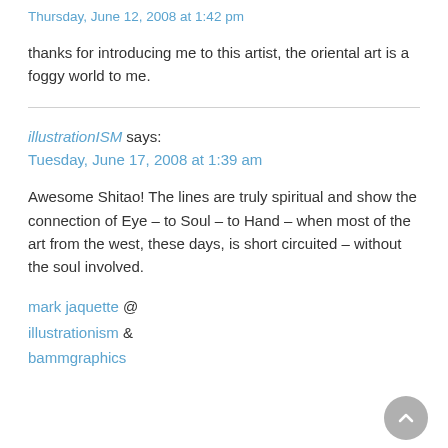Thursday, June 12, 2008 at 1:42 pm
thanks for introducing me to this artist, the oriental art is a foggy world to me.
illustrationISM says:
Tuesday, June 17, 2008 at 1:39 am
Awesome Shitao! The lines are truly spiritual and show the connection of Eye – to Soul – to Hand – when most of the art from the west, these days, is short circuited – without the soul involved.
mark jaquette @ illustrationism & bammgraphics